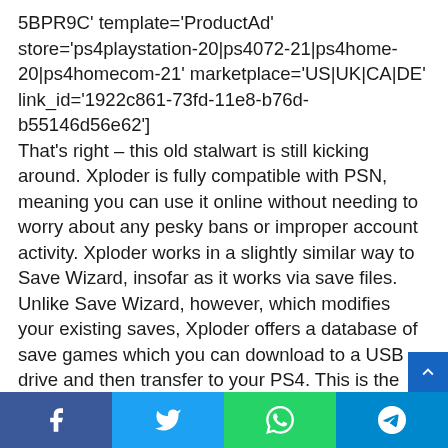5BPR9C' template='ProductAd' store='ps4playstation-20|ps4072-21|ps4home-20|ps4homecom-21' marketplace='US|UK|CA|DE' link_id='1922c861-73fd-11e8-b76d-b55146d56e62'] That's right – this old stalwart is still kicking around. Xploder is fully compatible with PSN, meaning you can use it online without needing to worry about any pesky bans or improper account activity. Xploder works in a slightly similar way to Save Wizard, insofar as it works via save files. Unlike Save Wizard, however, which modifies your existing saves, Xploder offers a database of save games which you can download to a USB drive and then transfer to your PS4. This is the same process as backing up save files, only you're downloading saves from a third location rather than simply backing up your own. Bear in mind that Xplode
[Figure (other): Social share bar with Facebook, Twitter, WhatsApp, and Telegram buttons]